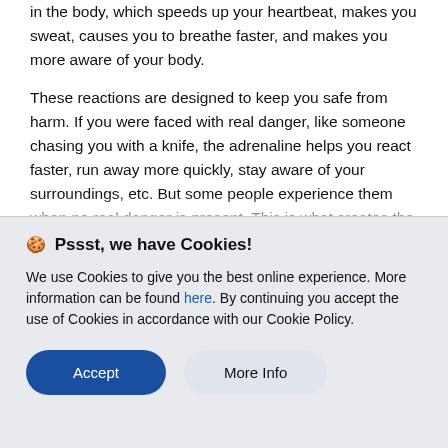in the body, which speeds up your heartbeat, makes you sweat, causes you to breathe faster, and makes you more aware of your body.
These reactions are designed to keep you safe from harm. If you were faced with real danger, like someone chasing you with a knife, the adrenaline helps you react faster, run away more quickly, stay aware of your surroundings, etc. But some people experience them when no real danger is present. This is what creates the sensation of an anxiety attack
🍪 Pssst, we have Cookies!
We use Cookies to give you the best online experience. More information can be found here. By continuing you accept the use of Cookies in accordance with our Cookie Policy.